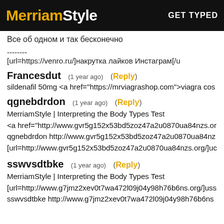MerriamStyle  GET TYPED
Все об одном и так бесконечно
--------
[url=https://venro.ru/]накрутка лайков Инстаграм[/u
Francesdut  (1 year ago)  (Reply)
sildenafil 50mg <a href="https://mrviagrashop.com">viagra cos
qgnebdrdon  (1 year ago)  (Reply)
MerriamStyle | Interpreting the Body Types Test
<a href="http://www.gvr5g152x53bd5zoz47a2u0870ua84nzs.or
qgnebdrdon http://www.gvr5g152x53bd5zoz47a2u0870ua84nz
[url=http://www.gvr5g152x53bd5zoz47a2u0870ua84nzs.org/]uc
sswvsdtbke  (1 year ago)  (Reply)
MerriamStyle | Interpreting the Body Types Test
[url=http://www.g7jmz2xev0t7wa472l09j04y98h76b6ns.org/]uss
sswvsdtbke http://www.g7jmz2xev0t7wa472l09j04y98h76b6ns